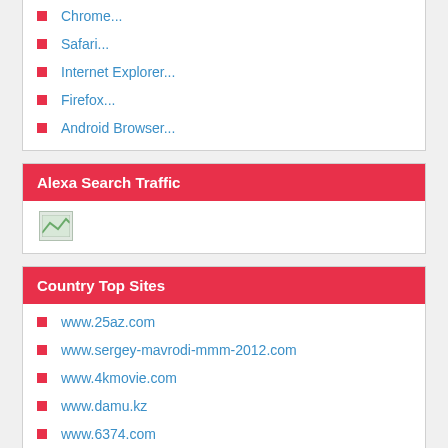Chrome...
Safari...
Internet Explorer...
Firefox...
Android Browser...
Alexa Search Traffic
[Figure (other): Alexa Search Traffic image placeholder]
Country Top Sites
www.25az.com
www.sergey-mavrodi-mmm-2012.com
www.4kmovie.com
www.damu.kz
www.6374.com
www.deptan.go.id
www.youtube.cl
www.aikantube.com